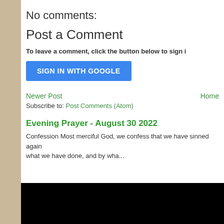No comments:
Post a Comment
To leave a comment, click the button below to sign i
[Figure (other): Blue 'SIGN IN WITH GOOGLE' button]
Newer Post    Home
Subscribe to: Post Comments (Atom)
Evening Prayer - August 30 2022
Confession Most merciful God, we confess that we have sinned again what we have done, and by wha...
[Figure (photo): Black rectangle image area at bottom]